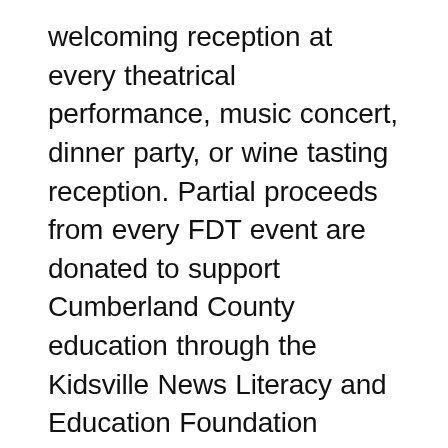welcoming reception at every theatrical performance, music concert, dinner party, or wine tasting reception. Partial proceeds from every FDT event are donated to support Cumberland County education through the Kidsville News Literacy and Education Foundation (501c3). Kidsville News! provides reading and educational resources “free of charge” to local children, teachers and parents.
All FDT evening performances include a Welcome Reception, Full-Service bar w/all ABC permits, a three-course